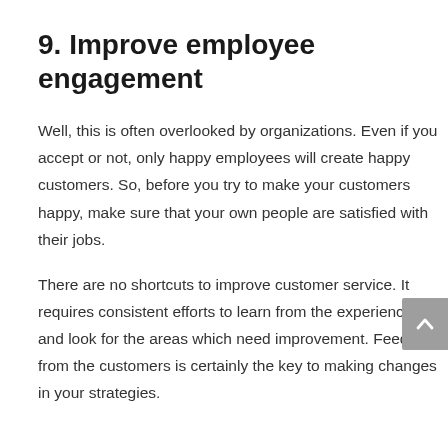9. Improve employee engagement
Well, this is often overlooked by organizations. Even if you accept or not, only happy employees will create happy customers. So, before you try to make your customers happy, make sure that your own people are satisfied with their jobs.
There are no shortcuts to improve customer service. It requires consistent efforts to learn from the experiences and look for the areas which need improvement. Feedback from the customers is certainly the key to making changes in your strategies.